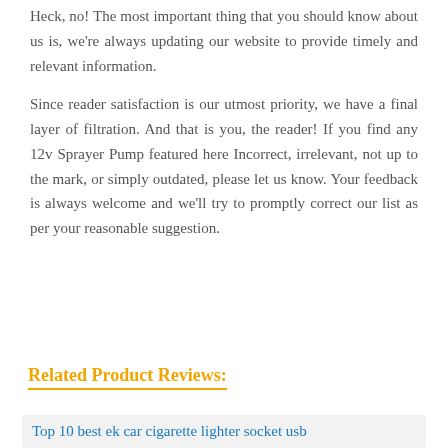Heck, no! The most important thing that you should know about us is, we're always updating our website to provide timely and relevant information.
Since reader satisfaction is our utmost priority, we have a final layer of filtration. And that is you, the reader! If you find any 12v Sprayer Pump featured here Incorrect, irrelevant, not up to the mark, or simply outdated, please let us know. Your feedback is always welcome and we'll try to promptly correct our list as per your reasonable suggestion.
Related Product Reviews:
Top 10 best ek car cigarette lighter socket usb